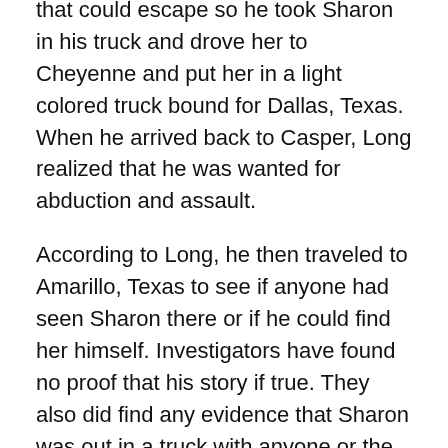that could escape so he took Sharon in his truck and drove her to Cheyenne and put her in a light colored truck bound for Dallas, Texas. When he arrived back to Casper, Long realized that he was wanted for abduction and assault.
According to Long, he then traveled to Amarillo, Texas to see if anyone had seen Sharon there or if he could find her himself. Investigators have found no proof that his story if true. They also did find any evidence that Sharon was out in a truck with anyone or the identity of the supposed trucker.
He then traveled to Mew Mexico where he would later be apprehended. Long was convicted of child abduction with the purpose of committing indecent liberties with a minor. He was sentenced to two terms of life in prison.
Long is a suspect in the disappearances of Carlene